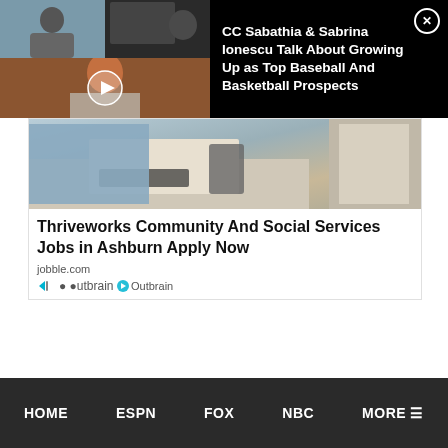[Figure (screenshot): Video thumbnail showing two people in a video call on dark background]
CC Sabathia & Sabrina Ionescu Talk About Growing Up as Top Baseball And Basketball Prospects
[Figure (photo): Photo of office/workplace setting with person at desk with phone and keyboard]
Thriveworks Community And Social Services Jobs in Ashburn Apply Now
jobble.com
Outbrain
HOME   ESPN   FOX   NBC   MORE